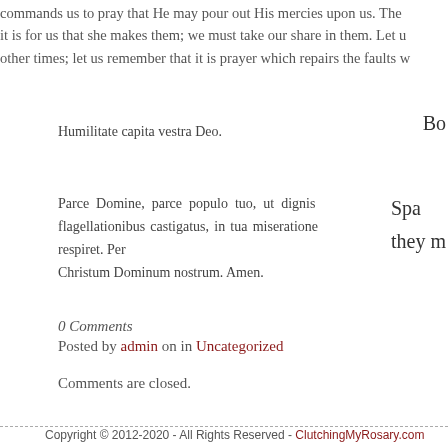commands us to pray that He may pour out His mercies upon us. The it is for us that she makes them; we must take our share in them. Let other times; let us remember that it is prayer which repairs the faults w
Humilitate capita vestra Deo.
Bo
Parce Domine, parce populo tuo, ut dignis flagellationibus castigatus, in tua miseratione respiret. Per Christum Dominum nostrum. Amen.
Spa they m
0 Comments
Posted by admin on in Uncategorized
Comments are closed.
Copyright © 2012-2020 - All Rights Reserved - ClutchingMyRosary.com